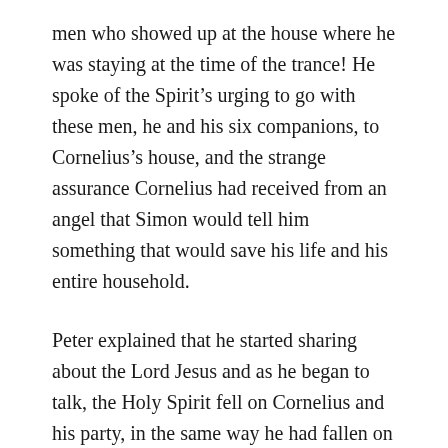men who showed up at the house where he was staying at the time of the trance! He spoke of the Spirit’s urging to go with these men, he and his six companions, to Cornelius’s house, and the strange assurance Cornelius had received from an angel that Simon would tell him something that would save his life and his entire household.
Peter explained that he started sharing about the Lord Jesus and as he began to talk, the Holy Spirit fell on Cornelius and his party, in the same way he had fallen on them at Pentecost. Peter said he had remembered Jesus’s words, that John the Baptist would baptize with water, but that they would be baptized with the Holy Spirit. Peter summed up his talk with this: “If God gave the same exact gift to them as to us when we believed in the Master Jesus Christ, how could I object